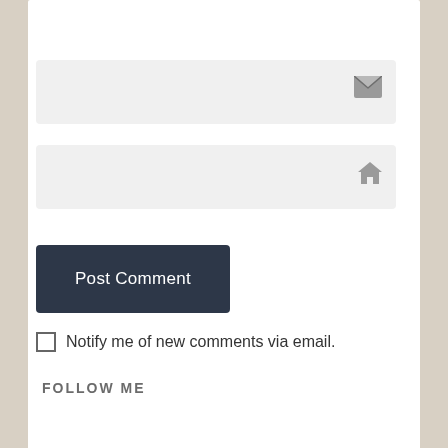[Figure (screenshot): Email input field with envelope icon]
[Figure (screenshot): Website/URL input field with home icon]
Post Comment
Notify me of new comments via email.
Notify me of new posts via email.
FOLLOW ME